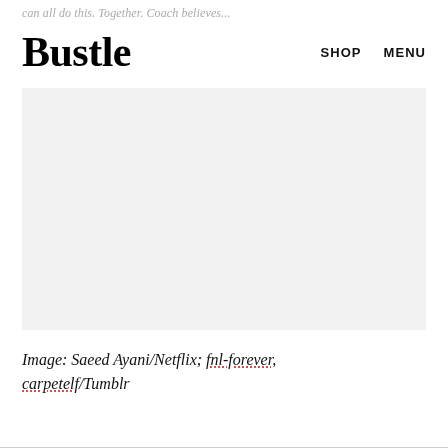can all do this. Together. Coach believes...
Bustle
SHOP   MENU
[Figure (photo): Image placeholder area with light gray background]
Image: Saeed Ayani/Netflix; fnl-forever, carpetelf/Tumblr